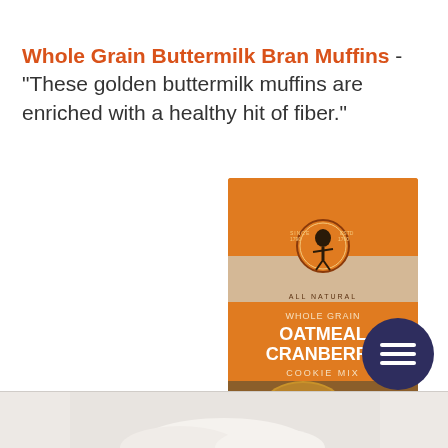Whole Grain Buttermilk Bran Muffins - "These golden buttermilk muffins are enriched with a healthy hit of fiber."
[Figure (photo): King Arthur Flour Whole Grain Oatmeal Cranberry Cookie Mix box with cookies shown on the front]
[Figure (other): Dark circular menu button with three horizontal lines (hamburger icon)]
[Figure (photo): Partial image at bottom of page, appears to be white/light colored baked goods or flour on a surface]